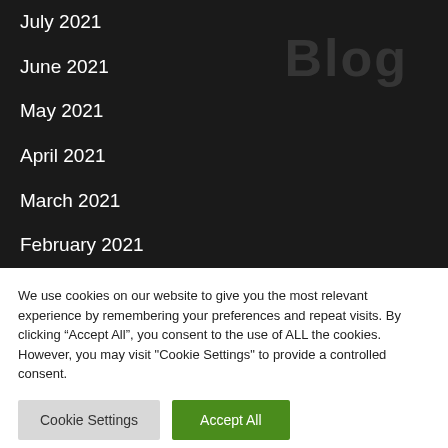July 2021
June 2021
May 2021
April 2021
March 2021
February 2021
December 2020
November 2020
We use cookies on our website to give you the most relevant experience by remembering your preferences and repeat visits. By clicking “Accept All”, you consent to the use of ALL the cookies. However, you may visit "Cookie Settings" to provide a controlled consent.
Cookie Settings | Accept All